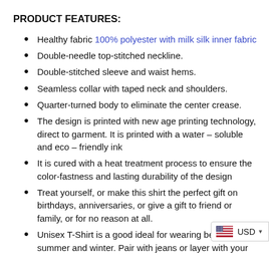PRODUCT FEATURES:
Healthy fabric 100% polyester with milk silk inner fabric
Double-needle top-stitched neckline.
Double-stitched sleeve and waist hems.
Seamless collar with taped neck and shoulders.
Quarter-turned body to eliminate the center crease.
The design is printed with new age printing technology, direct to garment. It is printed with a water – soluble and eco – friendly ink
It is cured with a heat treatment process to ensure the color-fastness and lasting durability of the design
Treat yourself, or make this shirt the perfect gift on birthdays, anniversaries, or give a gift to friend or family, or for no reason at all.
Unisex T-Shirt is a good ideal for wearing between summer and winter. Pair with jeans or layer with your